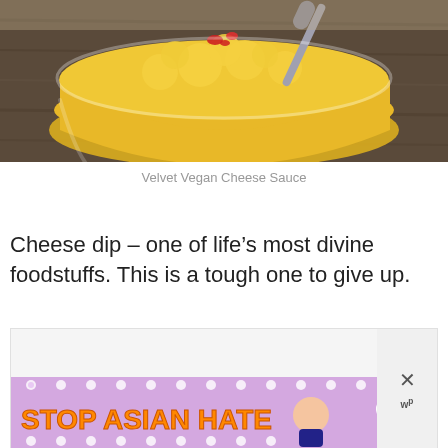[Figure (photo): A glass bowl filled with golden yellow vegan cheese sauce topped with red pepper pieces, with a spoon, on a dark wooden surface.]
Velvet Vegan Cheese Sauce
Cheese dip – one of life's most divine foodstuffs. This is a tough one to give up.
[Figure (other): Advertisement banner with lavender background with flower decorations and text 'STOP ASIAN HATE' in orange bold letters with an illustrated character, and two close buttons.]